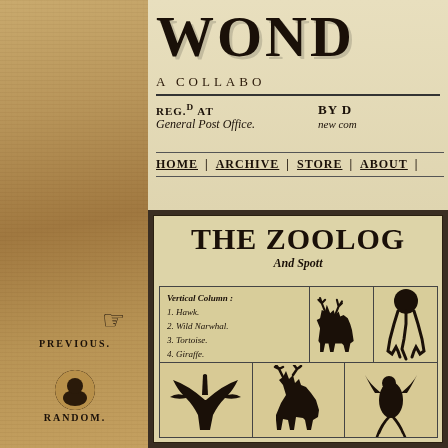WOND
A COLLABO
Reg.d at General Post Office.
BY [author] new com...
HOME | ARCHIVE | STORE | ABOUT |
THE ZOOLOG
And Spott
Vertical Column:
1. Hawk.
2. Wild Narwhal.
3. Tortoise.
4. Giraffe.
5. Piranha.
[Figure (illustration): Silhouette of a moose/elk standing]
[Figure (illustration): Silhouette of a squid or sea creature]
[Figure (illustration): Silhouette of a bird with wings spread]
[Figure (illustration): Silhouette of a moose/elk bending down]
[Figure (illustration): Silhouette of a bird of paradise]
[Figure (illustration): Navigation - PREVIOUS with pointing hand icon]
[Figure (illustration): Navigation - RANDOM with portrait photo]